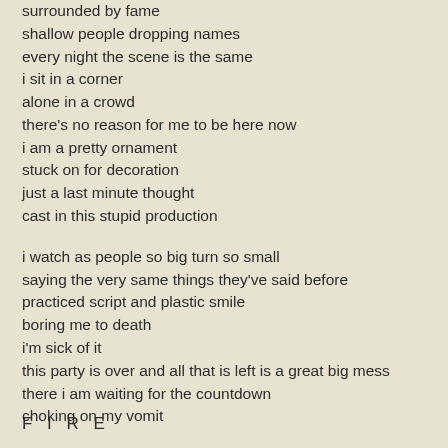surrounded by fame
shallow people dropping names
every night the scene is the same
i sit in a corner
alone in a crowd
there's no reason for me to be here now
i am a pretty ornament
stuck on for decoration
just a last minute thought
cast in this stupid production

i watch as people so big turn so small
saying the very same things they've said before
practiced script and plastic smile
boring me to death
i'm sick of it
this party is over and all that is left is a great big mess
there i am waiting for the countdown
choking on my vomit
F I R E